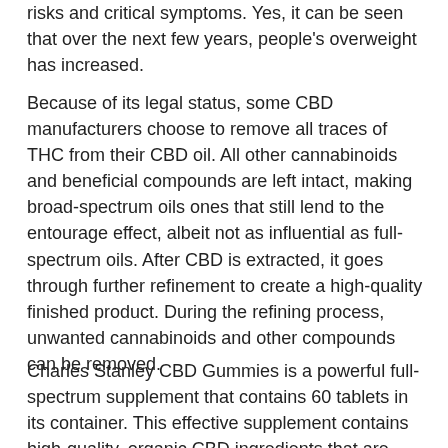risks and critical symptoms. Yes, it can be seen that over the next few years, people's overweight has increased.
Because of its legal status, some CBD manufacturers choose to remove all traces of THC from their CBD oil. All other cannabinoids and beneficial compounds are left intact, making broad-spectrum oils ones that still lend to the entourage effect, albeit not as influential as full-spectrum oils. After CBD is extracted, it goes through further refinement to create a high-quality finished product. During the refining process, unwanted cannabinoids and other compounds can be removed.
Charles Stanley CBD Gummies is a powerful full-spectrum supplement that contains 60 tablets in its container. This effective supplement contains high-quality, organic CBD ingredients that are designed to be absorbed quickly. This product's revolutionary